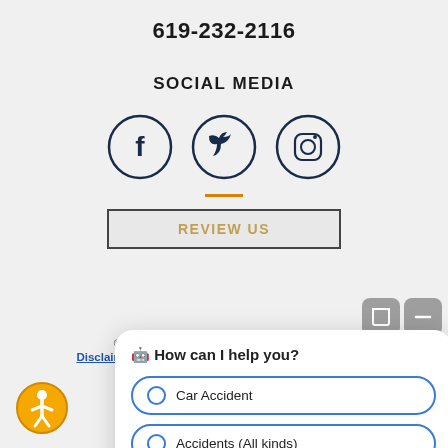619-232-2116
SOCIAL MEDIA
[Figure (illustration): Three social media icons in circles: Facebook (f), Twitter (bird), Instagram (camera)]
REVIEW US
[Figure (screenshot): Chat popup overlay with title 'How can I help you?' and options: Car Accident, Accidents (All kinds), Slip & Fall]
© 2022 The Ellis Firm | All Rights Reserved
Disclaimer | Site Map | Privacy Policy | DIGITAL MARKETING BY BOLD VENTURES
[Figure (illustration): Accessibility icon: orange circle with person figure]